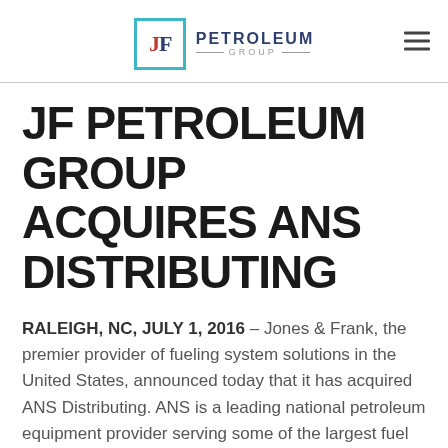JF PETROLEUM GROUP
JF PETROLEUM GROUP ACQUIRES ANS DISTRIBUTING
RALEIGH, NC, JULY 1, 2016 – Jones & Frank, the premier provider of fueling system solutions in the United States, announced today that it has acquired ANS Distributing. ANS is a leading national petroleum equipment provider serving some of the largest fuel marketers in North America. With